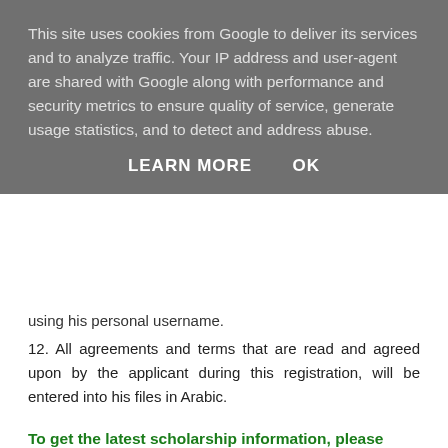This site uses cookies from Google to deliver its services and to analyze traffic. Your IP address and user-agent are shared with Google along with performance and security metrics to ensure quality of service, generate usage statistics, and to detect and address abuse.
LEARN MORE    OK
using his personal username.
12. All agreements and terms that are read and agreed upon by the applicant during this registration, will be entered into his files in Arabic.
To get the latest scholarship information, please follow our social media below: Telegram, Instagram, Twitter and Facebook!
Source: http://admission.iu.edu.sa/Conditions.aspx
The documents that need to be uploaded when registering for a scholarship at the Islamic University of Madinah are: